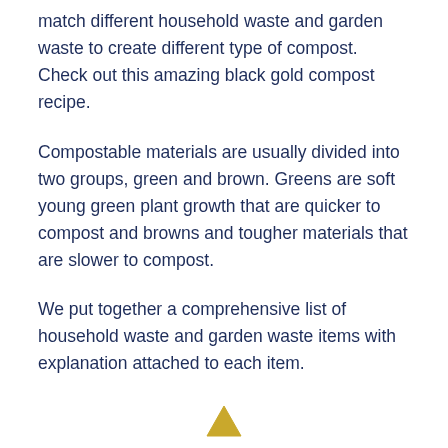match different household waste and garden waste to create different type of compost. Check out this amazing black gold compost recipe.
Compostable materials are usually divided into two groups, green and brown. Greens are soft young green plant growth that are quicker to compost and browns and tougher materials that are slower to compost.
We put together a comprehensive list of household waste and garden waste items with explanation attached to each item.
[Figure (illustration): A small yellow/gold upward-pointing triangle arrow icon at the bottom center of the page.]